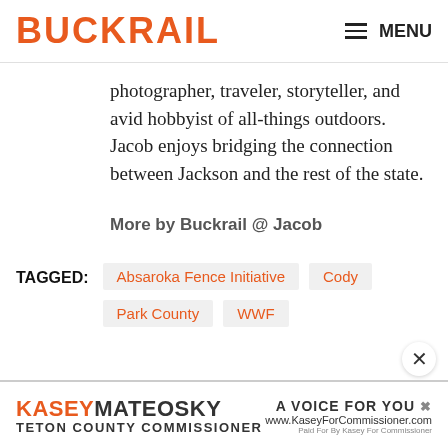BUCKRAIL  MENU
photographer, traveler, storyteller, and avid hobbyist of all-things outdoors. Jacob enjoys bridging the connection between Jackson and the rest of the state.
More by Buckrail @ Jacob
TAGGED:  Absaroka Fence Initiative  Cody  Park County  WWF
[Figure (other): Advertisement banner: KASEYMATEOSKY TETON COUNTY COMMISSIONER A VOICE FOR YOU www.KaseyForCommissioner.com Paid For By Kasey For Commissioner]